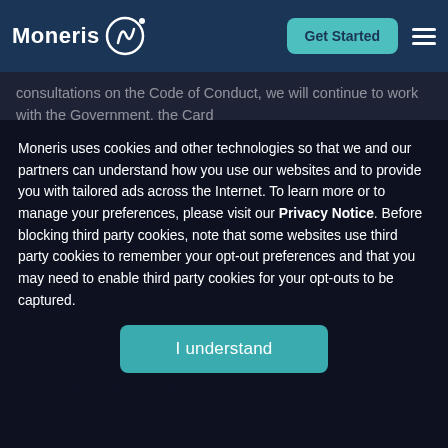[Figure (logo): Moneris logo — white text 'Moneris' with a stylized swirl/wave icon to the right, on dark navy header bar]
consultations on the Code of Conduct, we will continue to work with the Government, the Card
Moneris uses cookies and other technologies so that we and our partners can understand how you use our websites and to provide you with tailored ads across the Internet. To learn more or to manage your preferences, please visit our Privacy Notice. Before blocking third party cookies, note that some websites use third party cookies to remember your opt-out preferences and that you may need to enable third party cookies for your opt-outs to be captured.
I understand